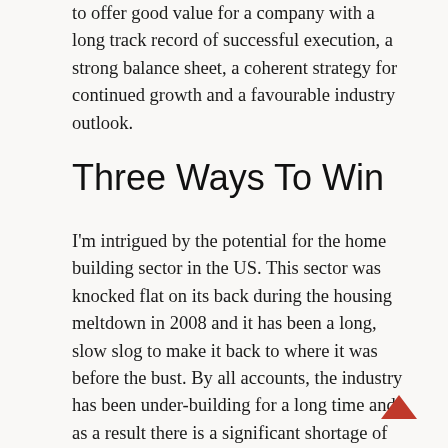to offer good value for a company with a long track record of successful execution, a strong balance sheet, a coherent strategy for continued growth and a favourable industry outlook.
Three Ways To Win
I'm intrigued by the potential for the home building sector in the US. This sector was knocked flat on its back during the housing meltdown in 2008 and it has been a long, slow slog to make it back to where it was before the bust. By all accounts, the industry has been under-building for a long time and as a result there is a significant shortage of available housing stock. Add to this the fact that the large millennial generation is just now entering their prime home buying years and the flight from the urban centers that covid and the new work from home trend has engendered and the home